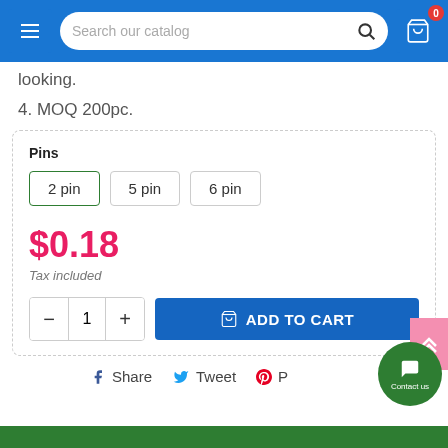Search our catalog
looking.
4. MOQ 200pc.
Pins: 2 pin | 5 pin | 6 pin
$0.18
Tax included
1  ADD TO CART
Share  Tweet  P